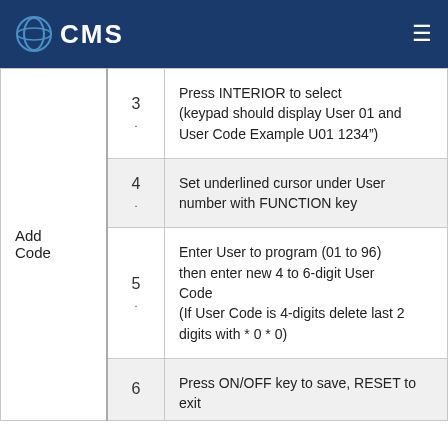CMS
|  | Step | Description |
| --- | --- | --- |
| Add Code | 3. | Press INTERIOR to select (keypad should display User 01 and User Code Example U01 1234") |
|  | 4. | Set underlined cursor under User number with FUNCTION key |
|  | 5. | Enter User to program (01 to 96) then enter new 4 to 6-digit User Code (If User Code is 4-digits delete last 2 digits with * 0 * 0) |
|  | 6. | Press ON/OFF key to save, RESET to exit |